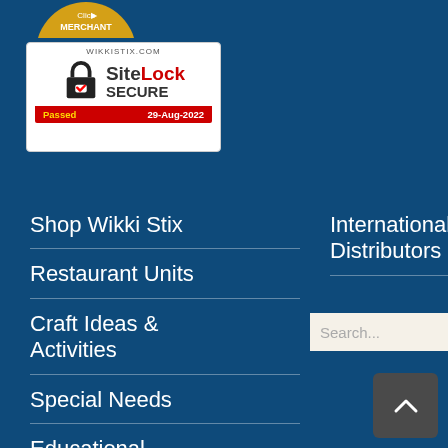[Figure (logo): Partial merchant badge at top of page]
[Figure (logo): SiteLock SECURE badge for wikkistix.com, Passed 29-Aug-2022]
Shop Wikki Stix
Restaurant Units
Craft Ideas & Activities
Special Needs
Educational Resources
International Distributors
[Figure (screenshot): Search bar with placeholder text 'Search...' and search button]